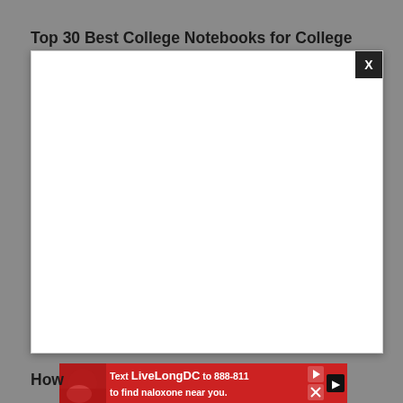Top 30 Best College Notebooks for College Students in 2022 | Why They Stand Out
[Figure (other): White modal/popup overlay with a black X close button in the top-right corner, displayed over a gray background]
[Figure (other): Red advertisement banner reading 'Text LiveLongDC to 888-811 to find naloxone near you.' with play and close icons, and a photo of a person on the left side]
How